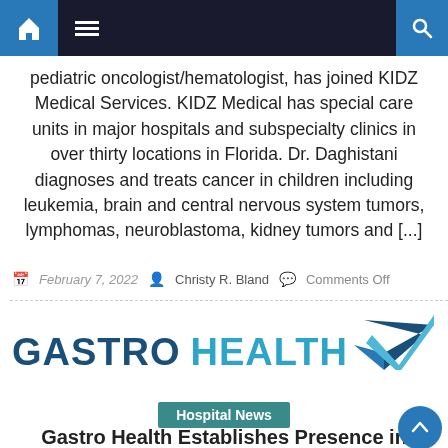Navigation bar with home, menu, and search icons
pediatric oncologist/hematologist, has joined KIDZ Medical Services. KIDZ Medical has special care units in major hospitals and subspecialty clinics in over thirty locations in Florida. Dr. Daghistani diagnoses and treats cancer in children including leukemia, brain and central nervous system tumors, lymphomas, neuroblastoma, kidney tumors and [...]
February 7, 2022   Christy R. Bland   Comments Off
[Figure (logo): Gastro Health logo with teal checkmark]
Hospital News
Gastro Health Establishes Presence in Massachusetts